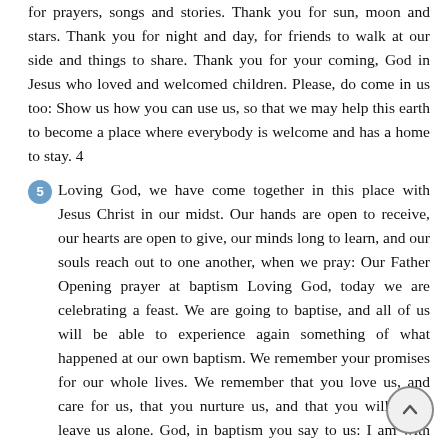for prayers, songs and stories. Thank you for sun, moon and stars. Thank you for night and day, for friends to walk at our side and things to share. Thank you for your coming, God in Jesus who loved and welcomed children. Please, do come in us too: Show us how you can use us, so that we may help this earth to become a place where everybody is welcome and has a home to stay. 4
5 Loving God, we have come together in this place with Jesus Christ in our midst. Our hands are open to receive, our hearts are open to give, our minds long to learn, and our souls reach out to one another, when we pray: Our Father Opening prayer at baptism Loving God, today we are celebrating a feast. We are going to baptise, and all of us will be able to experience again something of what happened at our own baptism. We remember your promises for our whole lives. We remember that you love us, and care for us, that you nurture us, and that you will never leave us alone. God, in baptism you say to us: I am with you. I like you. I will never let you get lost. That is why we celebrate in your name. Help us to deepen and strengthen our relationships to you, to others, and to ourselves. Take our hand and lead us on our life journey.